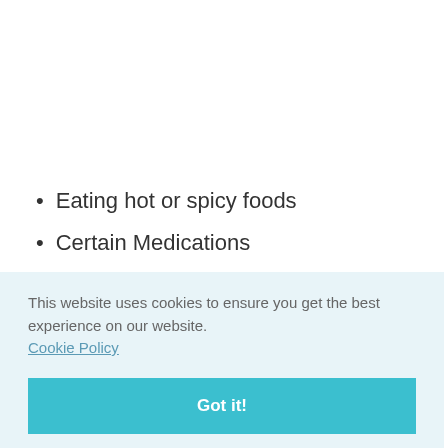Eating hot or spicy foods
Certain Medications
This website uses cookies to ensure you get the best experience on our website.
Cookie Policy
Got it!
ng
Treatments for excessive blushing should they